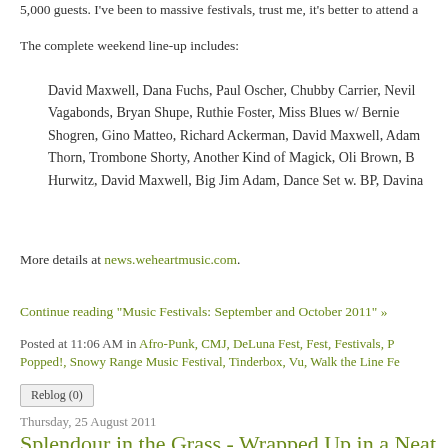5,000 guests. I've been to massive festivals, trust me, it's better to attend a
The complete weekend line-up includes:
David Maxwell, Dana Fuchs, Paul Oscher, Chubby Carrier, Nevil Vagabonds, Bryan Shupe, Ruthie Foster, Miss Blues w/ Bernie Shogren, Gino Matteo, Richard Ackerman, David Maxwell, Adam Thorn, Trombone Shorty, Another Kind of Magick, Oli Brown, B Hurwitz, David Maxwell, Big Jim Adam, Dance Set w. BP, Davina
More details at news.weheartmusic.com.
Continue reading "Music Festivals: September and October 2011" »
Posted at 11:06 AM in Afro-Punk, CMJ, DeLuna Fest, Fest, Festivals, P Popped!, Snowy Range Music Festival, Tinderbox, Vu, Walk the Line Fe
Reblog (0)
Thursday, 25 August 2011
Splendour in the Grass - Wrapped Up in a Neat